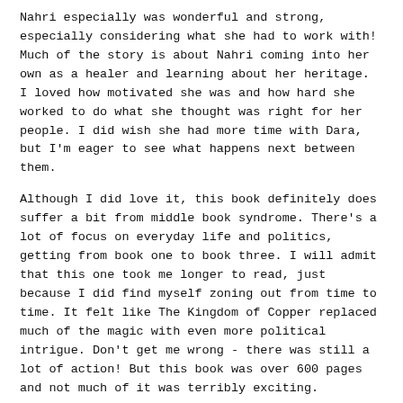Nahri especially was wonderful and strong, especially considering what she had to work with! Much of the story is about Nahri coming into her own as a healer and learning about her heritage. I loved how motivated she was and how hard she worked to do what she thought was right for her people. I did wish she had more time with Dara, but I'm eager to see what happens next between them.
Although I did love it, this book definitely does suffer a bit from middle book syndrome. There's a lot of focus on everyday life and politics, getting from book one to book three. I will admit that this one took me longer to read, just because I did find myself zoning out from time to time. It felt like The Kingdom of Copper replaced much of the magic with even more political intrigue. Don't get me wrong - there was still a lot of action! But this book was over 600 pages and not much of it was terribly exciting.
So yes, there were things that weren't perfect, but I still cannot wait to read The Empire of Gold! The Kingdom of Copper set up so much and I am so excited to see what happens!